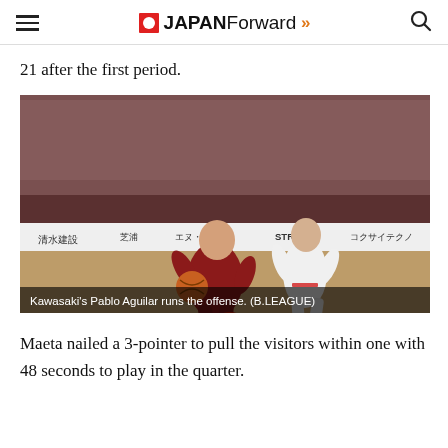JAPAN Forward
21 after the first period.
[Figure (photo): Basketball game photo: Kawasaki player Pablo Aguilar dribbling the ball against a defender, with a packed arena in the background. Courtside advertisements visible including 清水建設, 芝浦, エヌ・ケ, STRUST, コクサイテクノ.]
Kawasaki's Pablo Aguilar runs the offense. (B.LEAGUE)
Maeta nailed a 3-pointer to pull the visitors within one with 48 seconds to play in the quarter.